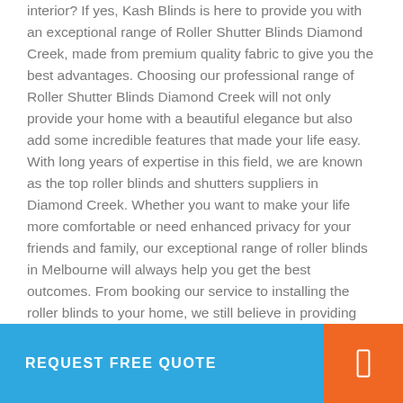interior? If yes, Kash Blinds is here to provide you with an exceptional range of Roller Shutter Blinds Diamond Creek, made from premium quality fabric to give you the best advantages. Choosing our professional range of Roller Shutter Blinds Diamond Creek will not only provide your home with a beautiful elegance but also add some incredible features that made your life easy. With long years of expertise in this field, we are known as the top roller blinds and shutters suppliers in Diamond Creek. Whether you want to make your life more comfortable or need enhanced privacy for your friends and family, our exceptional range of roller blinds in Melbourne will always help you get the best outcomes. From booking our service to installing the roller blinds to your home, we still believe in providing our clients' best satisfaction through our professional and hassle-free window covering services.
REQUEST FREE QUOTE